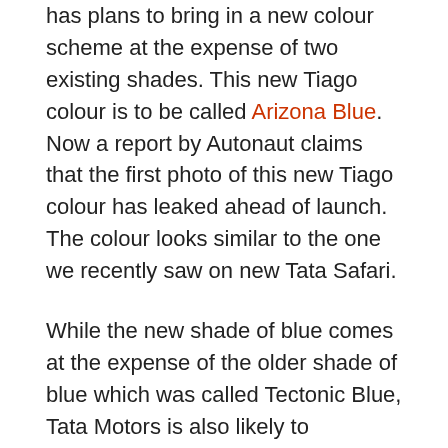has plans to bring in a new colour scheme at the expense of two existing shades. This new Tiago colour is to be called Arizona Blue. Now a report by Autonaut claims that the first photo of this new Tiago colour has leaked ahead of launch. The colour looks similar to the one we recently saw on new Tata Safari.
While the new shade of blue comes at the expense of the older shade of blue which was called Tectonic Blue, Tata Motors is also likely to discontinue the ‘Victory Yellow’ shade from Tiago’s colour palette. However, the manufacturer hasn’t confirmed the addition or discontinuation of any of these colours yet.
Tiago- Strong seller in hatchback segment
Tiago has been one of the strong sellers in its segment.